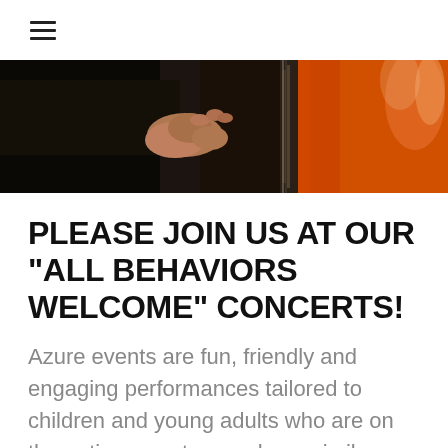☰
[Figure (photo): Close-up photo of hands playing a large orange cello or bass instrument, dark background with orange instrument body visible]
PLEASE JOIN US AT OUR "ALL BEHAVIORS WELCOME" CONCERTS!
Azure events are fun, friendly and engaging performances tailored to children and young adults who are on the autism spectrum or have similar